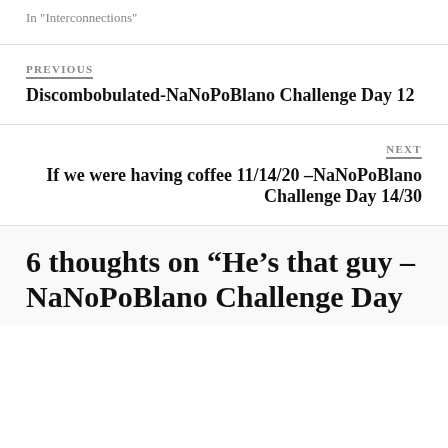In "Interconnections"
PREVIOUS
Discombobulated-NaNoPoBlano Challenge Day 12
NEXT
If we were having coffee 11/14/20 –NaNoPoBlano Challenge Day 14/30
6 thoughts on “He’s that guy – NaNoPoBlano Challenge Day